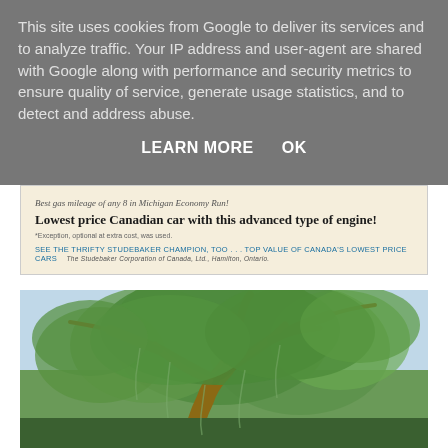This site uses cookies from Google to deliver its services and to analyze traffic. Your IP address and user-agent are shared with Google along with performance and security metrics to ensure quality of service, generate usage statistics, and to detect and address abuse.
LEARN MORE    OK
[Figure (other): Vintage advertisement banner with cream background. Text reads: 'Best gas mileage of any 8 in Michigan Economy Run!' and 'Lowest price Canadian car with this advanced type of engine!' with a footnote marker. Bottom text in teal: 'SEE THE THRIFTY STUDEBAKER CHAMPION, TOO ... TOP VALUE OF CANADA'S LOWEST PRICE CARS' and 'The Studebaker Corporation of Canada, Ltd., Hamilton, Ontario.']
[Figure (illustration): Colorful illustration of a large spreading tree (possibly a live oak or similar species) with thick gnarled branches and lush green foliage, with a light blue-purple sky in the background. The tree fills most of the image area.]